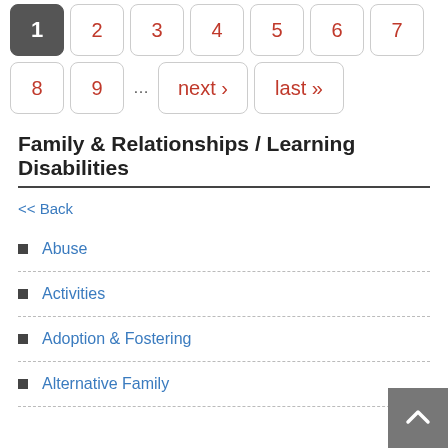[Figure (screenshot): Pagination navigation showing page buttons: 1 (active/selected), 2, 3, 4, 5, 6, 7 on first row; 8, 9, ellipsis, next ›, last » on second row]
Family & Relationships / Learning Disabilities
<< Back
Abuse
Activities
Adoption & Fostering
Alternative Family